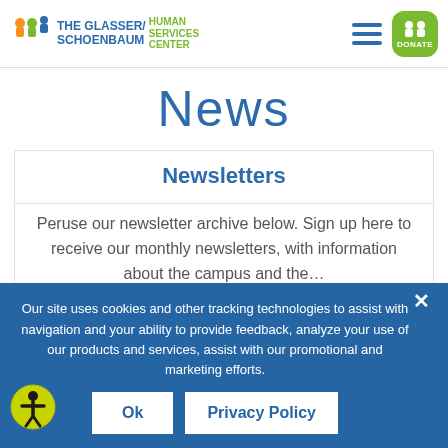The Glasser/Schoenbaum Human Services Center — Navigation with Hamburger menu and Donate button
News
Newsletters
Peruse our newsletter archive below. Sign up here to receive our monthly newsletters, with information about the campus and the…
Our site uses cookies and other tracking technologies to assist with navigation and your ability to provide feedback, analyze your use of our products and services, assist with our promotional and marketing efforts.
Ok   Privacy Policy